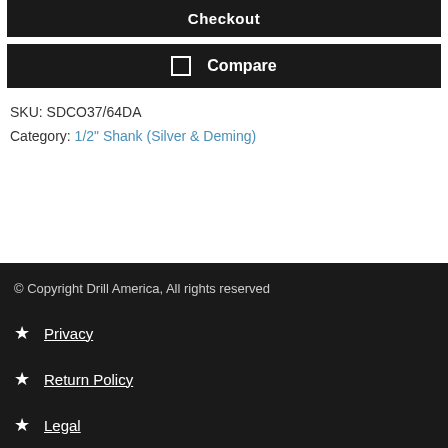Checkout
Compare
SKU: SDCO37/64DA
Category: 1/2" Shank (Silver & Deming)
© Copyright Drill America, All rights reserved
Privacy
Return Policy
Legal